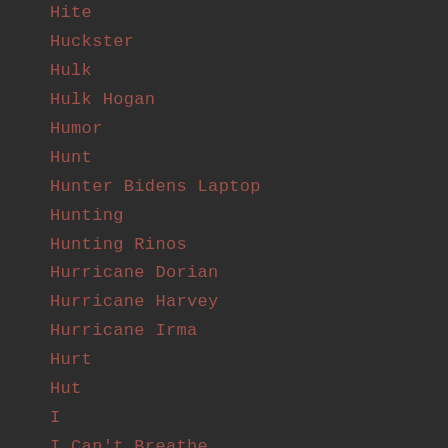Hite
Huckster
Hulk
Hulk Hogan
Humor
Hunt
Hunter Bidens Laptop
Hunting
Hunting Rinos
Hurricane Dorian
Hurricane Harvey
Hurricane Irma
Hurt
Hut
I
I Can't Breathe
Icp
Ideology
I-gen
I Generation
Il